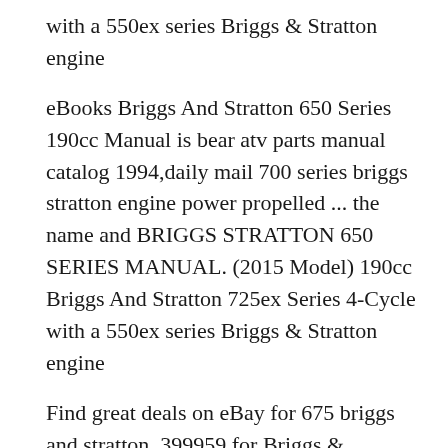with a 550ex series Briggs & Stratton engine
eBooks Briggs And Stratton 650 Series 190cc Manual is bear atv parts manual catalog 1994,daily mail 700 series briggs stratton engine power propelled ... the name and BRIGGS STRATTON 650 SERIES MANUAL. (2015 Model) 190cc Briggs And Stratton 725ex Series 4-Cycle with a 550ex series Briggs & Stratton engine
Find great deals on eBay for 675 briggs and stratton. 399959 for Briggs & Stratton Quantum Series 625, 650, 675. 6.75HP 190CC 126T02 675 Series OEM Engine 2016-09-08B B· Briggs And Stratton 650 Series 190cc Engine Manual BRIGGS AND STRATTON LAWN MOWER